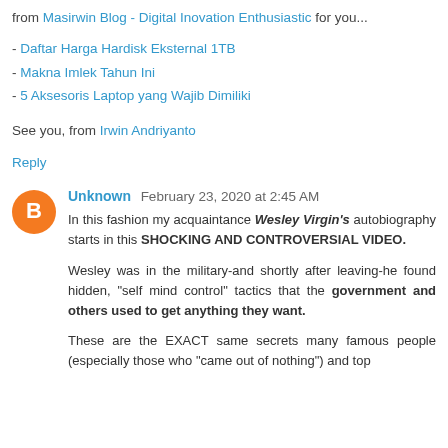from Masirwin Blog - Digital Inovation Enthusiastic for you...
- Daftar Harga Hardisk Eksternal 1TB
- Makna Imlek Tahun Ini
- 5 Aksesoris Laptop yang Wajib Dimiliki
See you, from Irwin Andriyanto
Reply
Unknown  February 23, 2020 at 2:45 AM
In this fashion my acquaintance Wesley Virgin's autobiography starts in this SHOCKING AND CONTROVERSIAL VIDEO.
Wesley was in the military-and shortly after leaving-he found hidden, "self mind control" tactics that the government and others used to get anything they want.
These are the EXACT same secrets many famous people (especially those who "came out of nothing") and top